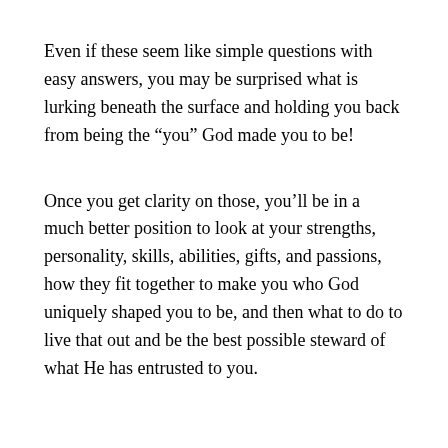Even if these seem like simple questions with easy answers, you may be surprised what is lurking beneath the surface and holding you back from being the “you” God made you to be!
Once you get clarity on those, you’ll be in a much better position to look at your strengths, personality, skills, abilities, gifts, and passions, how they fit together to make you who God uniquely shaped you to be, and then what to do to live that out and be the best possible steward of what He has entrusted to you.
For Reflection: